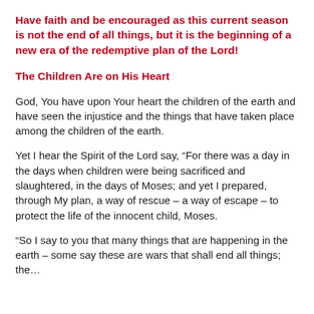Have faith and be encouraged as this current season is not the end of all things, but it is the beginning of a new era of the redemptive plan of the Lord!
The Children Are on His Heart
God, You have upon Your heart the children of the earth and have seen the injustice and the things that have taken place among the children of the earth.
Yet I hear the Spirit of the Lord say, “For there was a day in the days when children were being sacrificed and slaughtered, in the days of Moses; and yet I prepared, through My plan, a way of rescue – a way of escape – to protect the life of the innocent child, Moses.
“So I say to you that many things that are happening in the earth – some say these are wars that shall end all things; the…